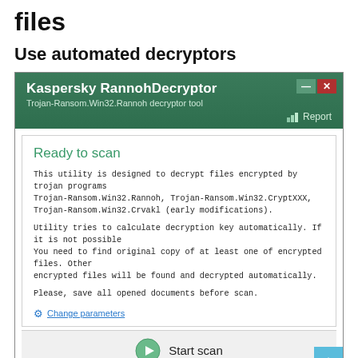files
Use automated decryptors
[Figure (screenshot): Kaspersky RannohDecryptor application window. Title bar: 'Kaspersky RannohDecryptor', subtitle 'Trojan-Ransom.Win32.Rannoh decryptor tool', with Report link. Main panel says 'Ready to scan' in green, with description text about decrypting files encrypted by Trojan-Ransom.Win32.Rannoh, Trojan-Ransom.Win32.CryptXXX, Trojan-Ransom.Win32.Crvakl (early modifications). Second paragraph about utility calculating decryption key automatically. Third line: 'Please, save all opened documents before scan.' Change parameters link. Start scan button at bottom.]